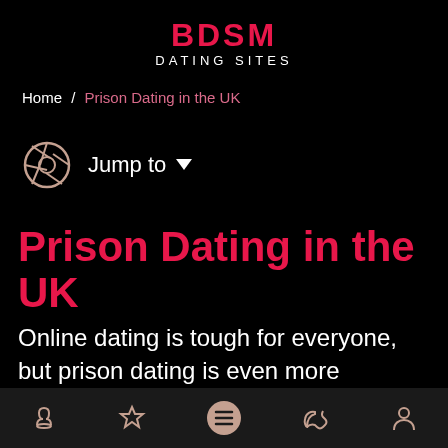BDSM DATING SITES
Home / Prison Dating in the UK
Jump to
Prison Dating in the UK
Online dating is tough for everyone, but prison dating is even more challenging. This is because the vast majority of dating sites in